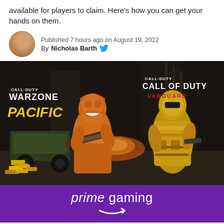available for players to claim. Here's how you can get your hands on them.
Published 7 hours ago on August 19, 2022
By Nicholas Barth
[Figure (photo): Call of Duty Warzone Pacific and Call of Duty Vanguard promotional image showing two armored characters with gold bars, with Prime Gaming logo at the bottom]
prime gaming (Amazon Prime Gaming logo)